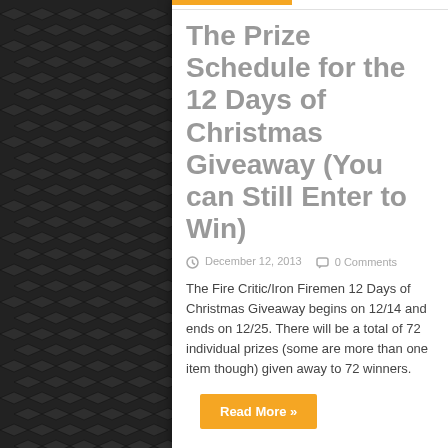The Prize Schedule for the 12 Days of Christmas Giveaway (You can Still Enter to Win)
December 12, 2013   0 Comments
The Fire Critic/Iron Firemen 12 Days of Christmas Giveaway begins on 12/14 and ends on 12/25. There will be a total of 72 individual prizes (some are more than one item though) given away to 72 winners.
Read More »